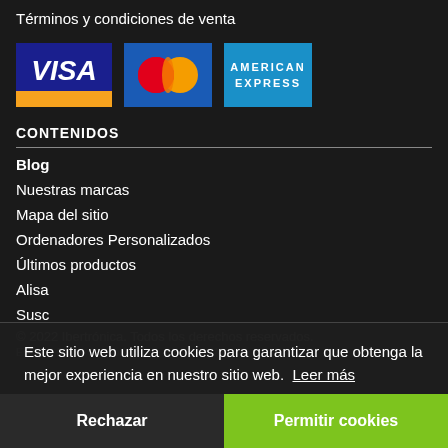Términos y condiciones de venta
[Figure (logo): Three payment method logos: VISA, Mastercard, and American Express]
CONTENIDOS
Blog
Nuestras marcas
Mapa del sitio
Ordenadores Personalizados
Últimos productos
Alisa
Susc
En la
Este sitio web utiliza cookies para garantizar que obtenga la mejor experiencia en nuestro sitio web.  Leer más
Rechazar
Permitir cookies